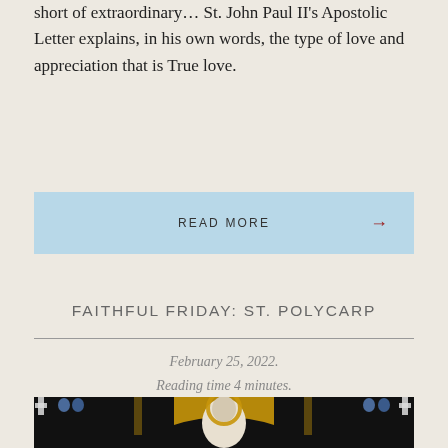short of extraordinary... St. John Paul II's Apostolic Letter explains, in his own words, the type of love and appreciation that is True love.
READ MORE →
FAITHFUL FRIDAY: ST. POLYCARP
February 25, 2022.
Reading time 4 minutes.
[Figure (photo): Stained glass window depicting St. Polycarp, a bishop figure with halo, flanked by decorative religious motifs in blue, gold, white, and black.]